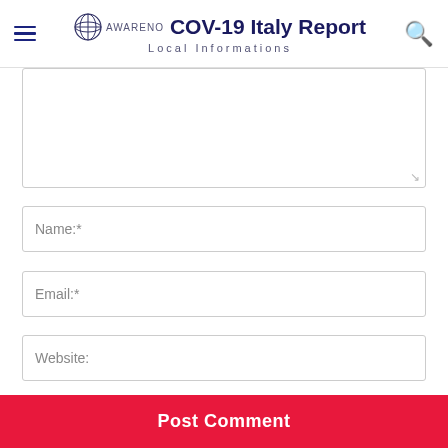COV-19 Italy Report — Local Informations
[Figure (screenshot): Comment form textarea (partially visible at top)]
Name:*
Email:*
Website:
Save my name, email, and website in this browser for the next time I comment.
Post Comment